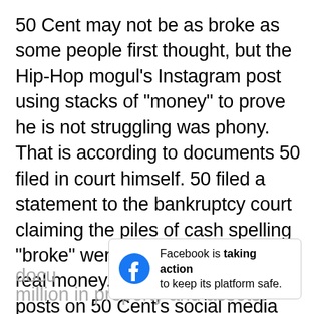50 Cent may not be as broke as some people first thought, but the Hip-Hop mogul's Instagram post using stacks of “money” to prove he is not struggling was phony. That is according to documents 50 filed in court himself. 50 filed a statement to the bankruptcy court claiming the piles of cash spelling “broke” were just props and not real money. There were other posts on 50 Cent’s social media accounts that also seemed to flaunt his wealth. The G-Unit boss claimed it is all for show to maintain his public image... documents... million in property and assets.
[Figure (other): Facebook banner overlay reading: Facebook is taking action to keep its platform safe.]